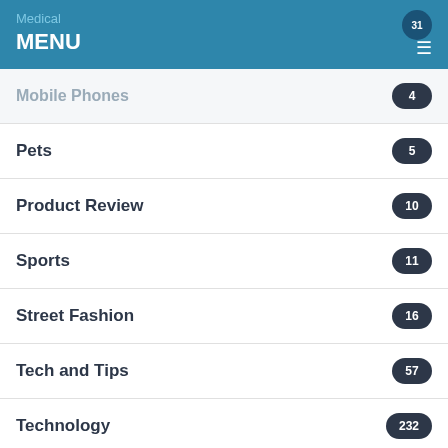Medical MENU
Mobile Phones 4
Pets 5
Product Review 10
Sports 11
Street Fashion 16
Tech and Tips 57
Technology 232
Travel 25